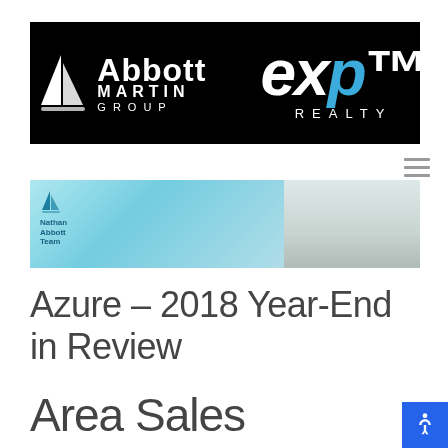[Figure (logo): Abbott Martin Group | eXp Realty logo on black background]
[Figure (photo): Hero banner with Nathan Abbott Team logo on blue background (left) and snowy fence winter scene (right)]
Azure – 2018 Year-End in Review
Area Sales Improved in 2018